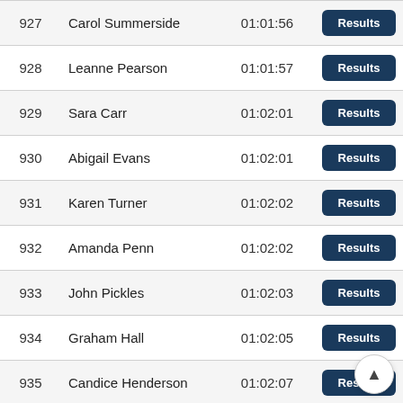| Rank | Name | Time |  |
| --- | --- | --- | --- |
| 927 | Carol Summerside | 01:01:56 | Results |
| 928 | Leanne Pearson | 01:01:57 | Results |
| 929 | Sara Carr | 01:02:01 | Results |
| 930 | Abigail Evans | 01:02:01 | Results |
| 931 | Karen Turner | 01:02:02 | Results |
| 932 | Amanda Penn | 01:02:02 | Results |
| 933 | John Pickles | 01:02:03 | Results |
| 934 | Graham Hall | 01:02:05 | Results |
| 935 | Candice Henderson | 01:02:07 | Results |
| 936 | Stephen Armstrong | 01:02:07 | Results |
| 937 | Graeme Miller | 01:02:09 | Results |
| 938 | Mandy Dixon | 01:02:09 | Results |
| 939 | Nicola Short | 01:02:10 | Re... |